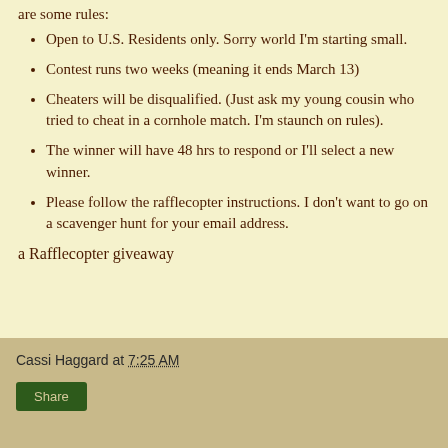are some rules:
Open to U.S. Residents only. Sorry world I'm starting small.
Contest runs two weeks (meaning it ends March 13)
Cheaters will be disqualified. (Just ask my young cousin who tried to cheat in a cornhole match. I'm staunch on rules).
The winner will have 48 hrs to respond or I'll select a new winner.
Please follow the rafflecopter instructions. I don't want to go on a scavenger hunt for your email address.
a Rafflecopter giveaway
Cassi Haggard at 7:25 AM  Share